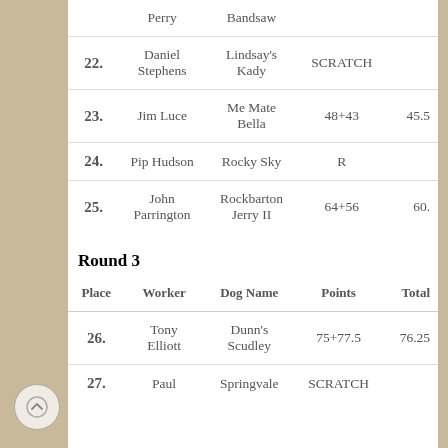| Place | Worker | Dog Name | Points | Total |
| --- | --- | --- | --- | --- |
|  | Perry | Bandsaw |  |  |
| 22. | Daniel Stephens | Lindsay's Kady | SCRATCH |  |
| 23. | Jim Luce | Me Mate Bella | 48+43 | 45.5 |
| 24. | Pip Hudson | Rocky Sky | R |  |
| 25. | John Parrington | Rockbarton Jerry II | 64+56 | 60. |
Round 3
| Place | Worker | Dog Name | Points | Total |
| --- | --- | --- | --- | --- |
| 26. | Tony Elliott | Dunn's Scudley | 75+77.5 | 76.25 |
| 27. | Paul | Springvale | SCRATCH |  |